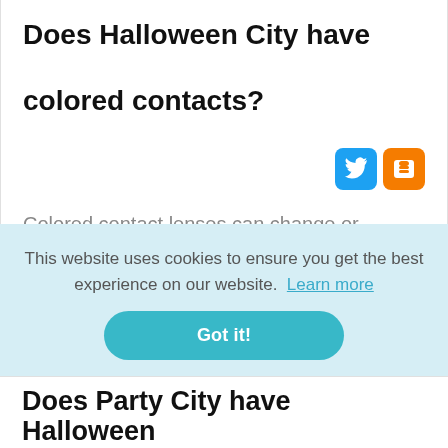Does Halloween City have colored contacts?
Colored contact lenses can change or intensify your eye color. Some people use colored contacts for cosmetic reasons, but they're also used for costumes for Halloween, theater, or cosplay. Although you can't buy colored contacts at Party City,
This website uses cookies to ensure you get the best experience on our website. Learn more
Does Party City have Halloween